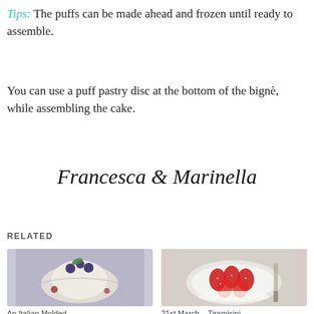Tips: The puffs can be made ahead and frozen until ready to assemble.
You can use a puff pastry disc at the bottom of the bignè, while assembling the cake.
Francesca & Marinella
RELATED
[Figure (photo): An Italian Molded dessert with blueberries on a plate]
An Italian Molded…
[Figure (photo): Strawberries on a plate with cream, 21st March – Tiramisini]
21st March – Tiramisini…